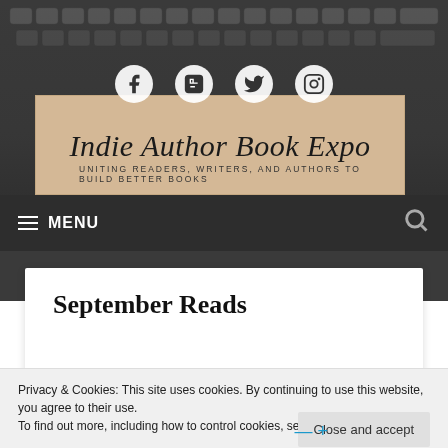[Figure (screenshot): Typewriter keyboard background image in dark gray tones]
[Figure (logo): Indie Author Book Expo logo on beige/tan background with social media icons (Facebook, LinkedIn, Twitter, Instagram) above. Tagline: UNITING READERS, WRITERS, AND AUTHORS TO BUILD BETTER BOOKS]
≡ MENU
September Reads
Privacy & Cookies: This site uses cookies. By continuing to use this website, you agree to their use.
To find out more, including how to control cookies, see here: Cookie Policy
Close and accept